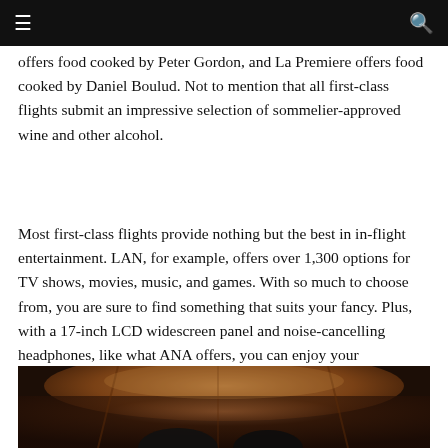offers food cooked by Peter Gordon, and La Premiere offers food cooked by Daniel Boulud. Not to mention that all first-class flights submit an impressive selection of sommelier-approved wine and other alcohol.
Most first-class flights provide nothing but the best in in-flight entertainment. LAN, for example, offers over 1,300 options for TV shows, movies, music, and games. With so much to choose from, you are sure to find something that suits your fancy. Plus, with a 17-inch LCD widescreen panel and noise-cancelling headphones, like what ANA offers, you can enjoy your entertainment in style and peace.
[Figure (photo): Interior view of a first-class airplane cabin, warm amber/brown tones, showing overhead cabin and seat area from below]